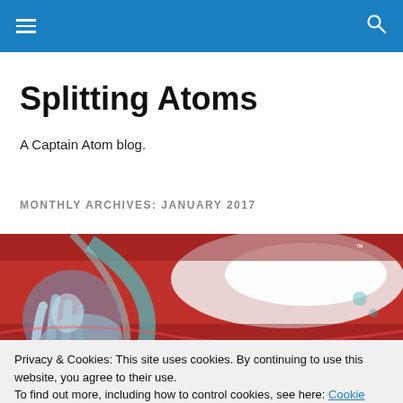Navigation header with hamburger menu and search icon
Splitting Atoms
A Captain Atom blog.
MONTHLY ARCHIVES: JANUARY 2017
[Figure (illustration): Comic book artwork showing a silver/metallic figure with red and blue energy swirl background, partial view of character reaching upward]
Privacy & Cookies: This site uses cookies. By continuing to use this website, you agree to their use.
To find out more, including how to control cookies, see here: Cookie Policy
Close and accept